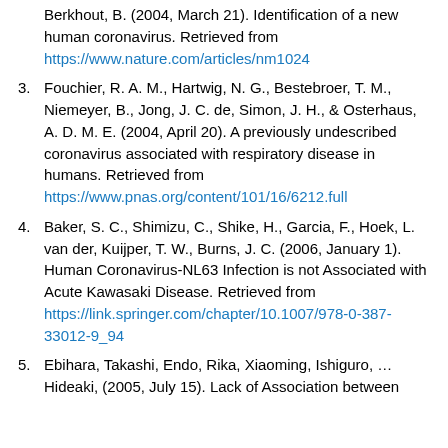Berkhout, B. (2004, March 21). Identification of a new human coronavirus. Retrieved from https://www.nature.com/articles/nm1024
Fouchier, R. A. M., Hartwig, N. G., Bestebroer, T. M., Niemeyer, B., Jong, J. C. de, Simon, J. H., & Osterhaus, A. D. M. E. (2004, April 20). A previously undescribed coronavirus associated with respiratory disease in humans. Retrieved from https://www.pnas.org/content/101/16/6212.full
Baker, S. C., Shimizu, C., Shike, H., Garcia, F., Hoek, L. van der, Kuijper, T. W., Burns, J. C. (2006, January 1). Human Coronavirus-NL63 Infection is not Associated with Acute Kawasaki Disease. Retrieved from https://link.springer.com/chapter/10.1007/978-0-387-33012-9_94
Ebihara, Takashi, Endo, Rika, Xiaoming, Ishiguro, … Hideaki, (2005, July 15). Lack of Association between...